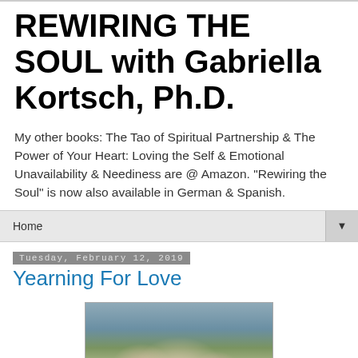REWIRING THE SOUL with Gabriella Kortsch, Ph.D.
My other books: The Tao of Spiritual Partnership & The Power of Your Heart: Loving the Self & Emotional Unavailability & Neediness are @ Amazon. "Rewiring the Soul" is now also available in German & Spanish.
Home ▼
Tuesday, February 12, 2019
Yearning For Love
[Figure (photo): Photo of a flowering tree against a moody sky, likely cherry blossoms or similar ornamental tree]